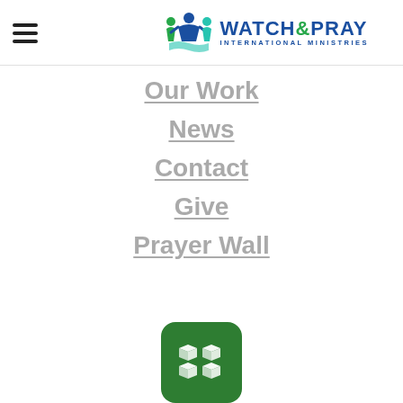Watch & Pray International Ministries
Our Work
News
Contact
Give
Prayer Wall
[Figure (logo): Excellence Co. logo - green rounded square with white 3D cube graphic]